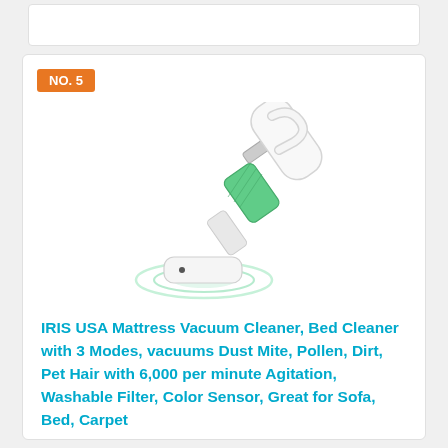[Figure (photo): White handheld mattress vacuum cleaner tilted at angle with green filter visible and green glow effect at base, product photo on white background]
IRIS USA Mattress Vacuum Cleaner, Bed Cleaner with 3 Modes, vacuums Dust Mite, Pollen, Dirt, Pet Hair with 6,000 per minute Agitation, Washable Filter, Color Sensor, Great for Sofa, Bed, Carpet